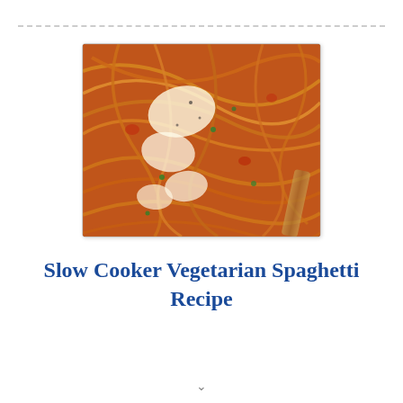[Figure (photo): Close-up photo of slow cooker vegetarian spaghetti pasta with tomato sauce, topped with shaved parmesan cheese and fresh herbs, with a fork visible on the right side]
Slow Cooker Vegetarian Spaghetti Recipe